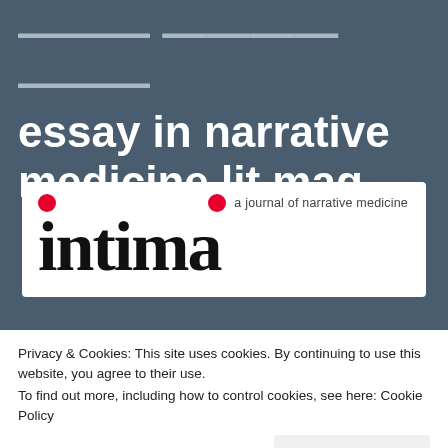essay in narrative medicine lit mag
[Figure (logo): Intima: A Journal of Narrative Medicine logo. Two red dots above the large bold serif wordmark 'intima' with the subtitle 'a journal of narrative medicine' in smaller sans-serif text.]
I was honored to have my essay, “Another Game Day,” published by Intima: A Journal
Privacy & Cookies: This site uses cookies. By continuing to use this website, you agree to their use.
To find out more, including how to control cookies, see here: Cookie Policy
game due to multiple sclerosis — is an exploration